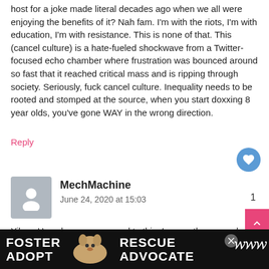host for a joke made literal decades ago when we all were enjoying the benefits of it? Nah fam. I'm with the riots, I'm with education, I'm with resistance. This is none of that. This (cancel culture) is a hate-fueled shockwave from a Twitter-focused echo chamber where frustration was bounced around so fast that it reached critical mass and is ripping through society. Seriously, fuck cancel culture. Inequality needs to be rooted and stomped at the source, when you start doxxing 8 year olds, you've gone WAY in the wrong direction.
Reply
[Figure (other): Blue circular like/heart button]
[Figure (other): Gray user avatar placeholder]
MechMachine
June 24, 2020 at 15:03
1
Yikes. How does one respond to this. I guess the general consensus is shut-up and listen. I say, Hell no. Nuance is what is missing. Cancel culture is not that cool in some instances and pretty effective on others. My issue is this, I personally don't like the state the world is in and I don't like how hypocri... Riots... result of the
[Figure (other): What's Next overlay with thumbnail image showing 'We're all going on a......']
[Figure (other): Advertisement banner: Foster Adopt / Rescue Advocate with dog image]